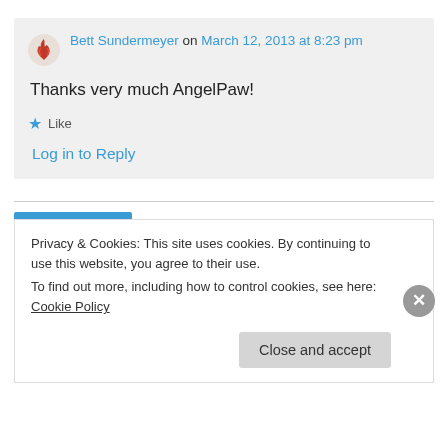Bett Sundermeyer on March 12, 2013 at 8:23 pm
Thanks very much AngelPaw!
Like
Log in to Reply
Privacy & Cookies: This site uses cookies. By continuing to use this website, you agree to their use. To find out more, including how to control cookies, see here: Cookie Policy
Close and accept